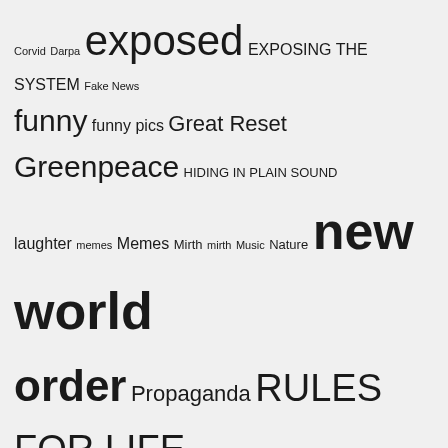Corvid Darpa exposed EXPOSING THE SYSTEM Fake News funny funny pics Great Reset Greenpeace HIDING IN PLAIN SOUND laughter memes Memes Mirth mirth Music Nature new world order Propaganda RULES FOR LIFE science Secret Government Ops Spying Tips Tips For Life Ukraine Vaccines
GALLERY
[Figure (other): The Bureau of Investigative Journalism logo/text on white background]
[Figure (other): The Great Reset image with UN emblem on teal/dark background, text reads 'The Great Reset']